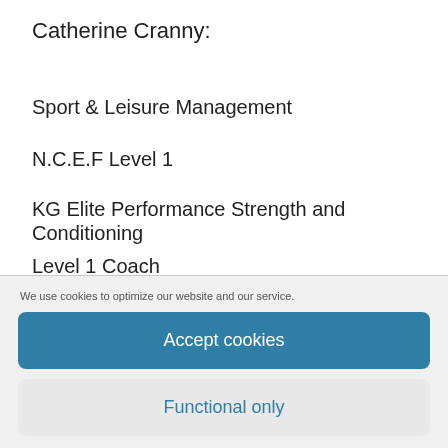Catherine Cranny:
Sport & Leisure Management
N.C.E.F Level 1
KG Elite Performance Strength and Conditioning
Level 1 Coach
TRX Suspension Training
TRX Group Training
We use cookies to optimize our website and our service.
Accept cookies
Functional only